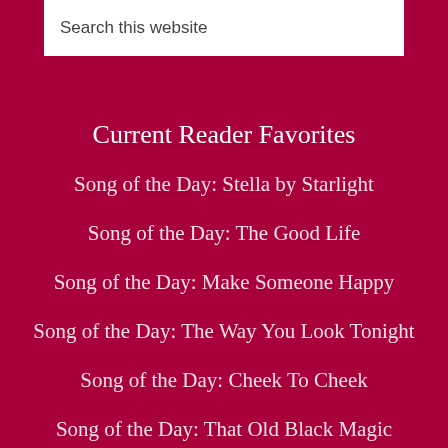Search this website
Current Reader Favorites
Song of the Day: Stella by Starlight
Song of the Day: The Good Life
Song of the Day: Make Someone Happy
Song of the Day: The Way You Look Tonight
Song of the Day: Cheek To Cheek
Song of the Day: That Old Black Magic